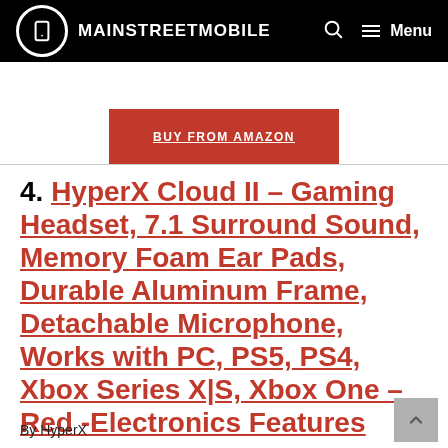MAINSTREETMOBILE
[Figure (other): Red BUY FROM AMAZON button]
4. HyperX Cloud II – Gaming Headset, 7.1 Surround Sound, Memory Foam Ear Pads, Durable Aluminum Frame, Detachable Microphone, Works with PC, PS5, PS4, Xbox Series X|S, Xbox One – Red -Electronics Features
By HyperX